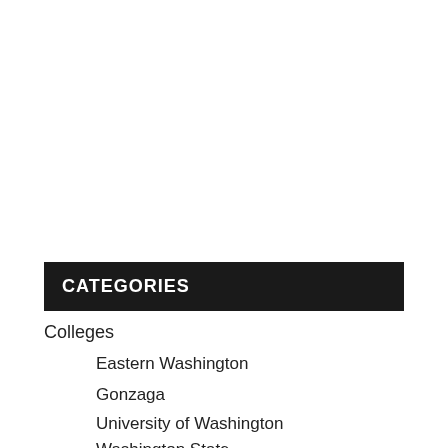CATEGORIES
Colleges
Eastern Washington
Gonzaga
University of Washington
Washington State